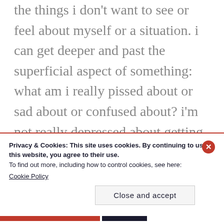the things i don't want to see or feel about myself or a situation. i can get deeper and past the superficial aspect of something: what am i really pissed about or sad about or confused about? i'm not really depressed about getting old, but about not doing or being who i thought i would be by now. i'm not mad at that person for what they just did, i'm mad at what i didn't do in the situation. or i not really mad i'm sad
Privacy & Cookies: This site uses cookies. By continuing to use this website, you agree to their use.
To find out more, including how to control cookies, see here:
Cookie Policy